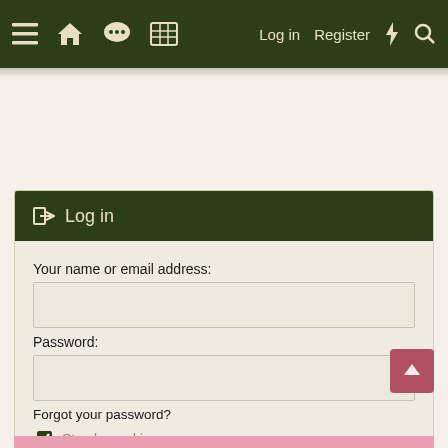≡  🏠  💬  ⊞   Log in   Register  ⚡  🔍
Log in
Your name or email address:
Password:
Forgot your password?
Stay logged in